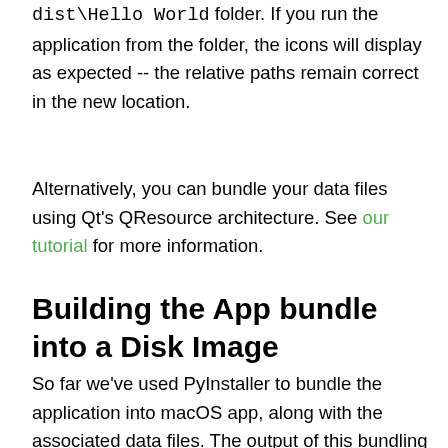dist\Hello World folder. If you run the application from the folder, the icons will display as expected -- the relative paths remain correct in the new location.
Alternatively, you can bundle your data files using Qt's QResource architecture. See our tutorial for more information.
Building the App bundle into a Disk Image
So far we've used PyInstaller to bundle the application into macOS app, along with the associated data files. The output of this bundling